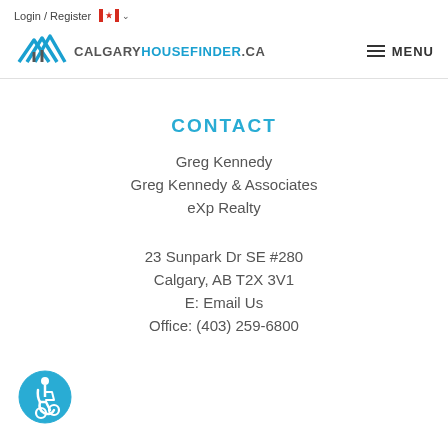Login / Register
[Figure (logo): CalgaryHouseFinder.ca logo with stylized house/roof icon in blue and dark grey text]
CONTACT
Greg Kennedy
Greg Kennedy & Associates
eXp Realty
23 Sunpark Dr SE #280
Calgary, AB T2X 3V1
E: Email Us
Office: (403) 259-6800
[Figure (illustration): Blue circular accessibility icon with wheelchair user symbol]